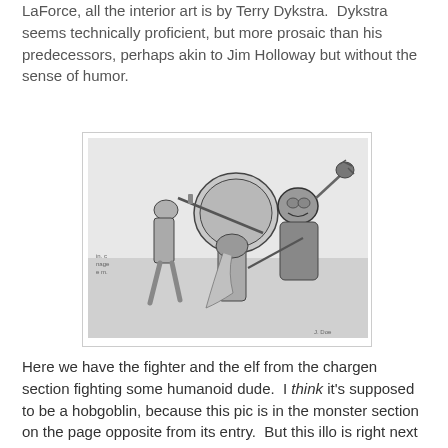LaForce, all the interior art is by Terry Dykstra. Dykstra seems technically proficient, but more prosaic than his predecessors, perhaps akin to Jim Holloway but without the sense of humor.
[Figure (illustration): Black and white illustration showing a fighter and an elf fighting a large humanoid creature (hobgoblin or lizard man), with swords and a mace, in a dynamic combat scene.]
Here we have the fighter and the elf from the chargen section fighting some humanoid dude. I think it's supposed to be a hobgoblin, because this pic is in the monster section on the page opposite from its entry. But this illo is right next to the lizard man write-up, so a newbie could be confused.